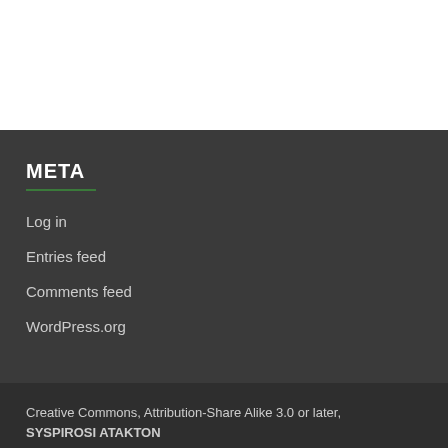META
Log in
Entries feed
Comments feed
WordPress.org
Creative Commons, Attribution-Share Alike 3.0 or later, SYSPIROSI ATAKTON
Powered by WordPress and HitMag.